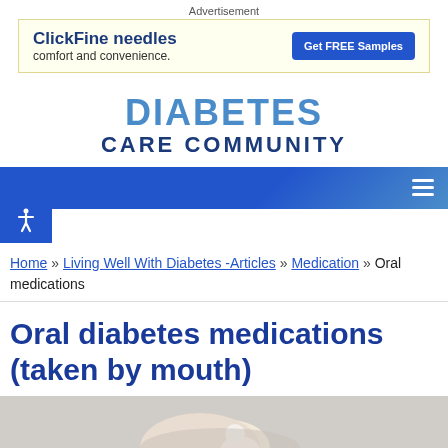Advertisement
[Figure (infographic): ClickFine needles advertisement banner: bold blue text 'ClickFine needles comfort and convenience.' with a blue 'Get FREE Samples' button]
[Figure (logo): Diabetes Care Community logo: DIABETES in large blue letters, CARE COMMUNITY in dark blue below]
[Figure (infographic): Dark blue navigation bar with hamburger menu icon on right and accessibility icon on left]
Home » Living Well With Diabetes -Articles » Medication » Oral medications
Oral diabetes medications (taken by mouth)
[Figure (photo): Partially visible photo showing a hand holding a white pill or tablet]